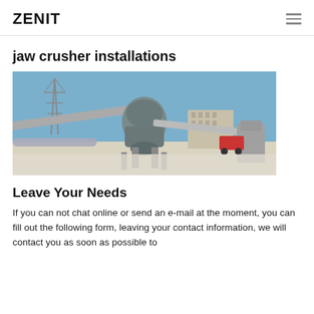ZENIT
jaw crusher installations
[Figure (photo): Industrial jaw crusher installation with conveyor belts, large grey crusher machine in the center, power line tower on the left, and construction equipment in the background under a blue sky.]
Leave Your Needs
If you can not chat online or send an e-mail at the moment, you can fill out the following form, leaving your contact information, we will contact you as soon as possible to